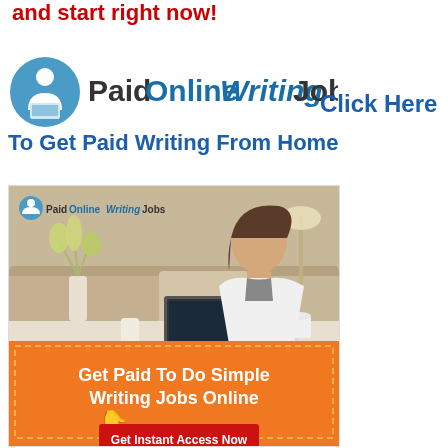and start right now!
[Figure (logo): PaidOnlineWritingJobs logo with person icon and stylized text]
Click Here
To Get Paid Writing From Home
[Figure (photo): Advertisement banner for PaidOnlineWritingJobs showing a woman working on a laptop at home, with orange section reading 'Get Paid To Do Simple Writing Jobs Online' and a red button 'Get Instant Access Now']